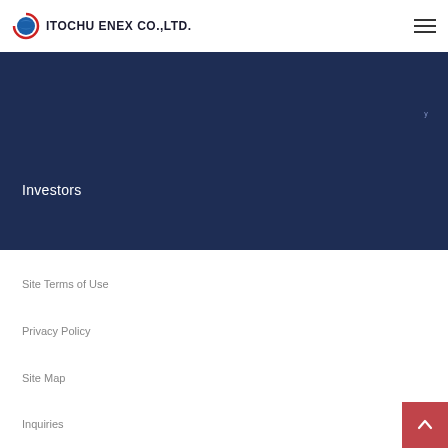ITOCHU ENEX CO.,LTD.
Investors
Site Terms of Use
Privacy Policy
Site Map
Inquiries